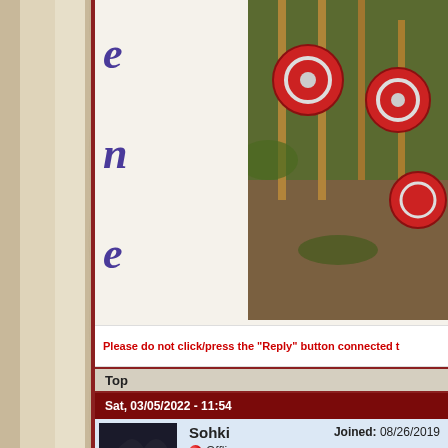[Figure (screenshot): Partial forum page showing viking-themed website with decorative letters 'e', 'n', 'e' on left side in blue-purple, and a photo of viking shields and wooden spears on the right side of the image area.]
Please do not click/press the "Reply" button connected t
Top
Sat, 03/05/2022 - 11:54
Sohki
Joined: 08/26/2019
Offline
Supreme Viking Champion
Phoenix's Profile
PHOENIX:
[Figure (photo): Bottom of a post showing a dark brown/wooden themed image, partially visible at bottom of page.]